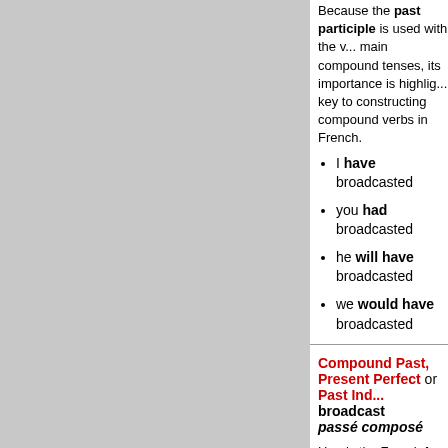Because the past participle is used with the main compound tenses, its importance is highlighted key to constructing compound verbs in French.
I have broadcasted
you had broadcasted
he will have broadcasted
we would have broadcasted
Compound Past, Present Perfect or Past Indefinite broadcast passé composé
Here's the French for broadcast conjugated with
j'ai radiodiffusé
- I have broadcasted or I did broadcast or
- I broadcasted
tu as radiodiffusé
- you have broadcasted or you did broadcast -
- you broadcasted
il, elle, on a radiodiffusé
- he, she, it, one has broadcast or did broadcast
- he, she, it broadcasted
nous avons radiodiffusé
- we have broadcast or we did broadcast
- we broadcasted